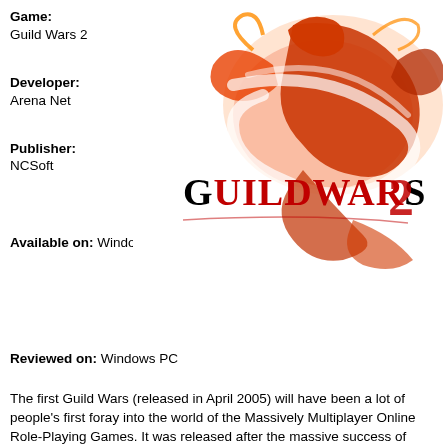Game: Guild Wars 2
Developer: Arena Net
Publisher: NCSoft
[Figure (illustration): Guild Wars 2 game artwork showing a red/orange dragon and the Guild Wars 2 logo text on a white background]
Available on: Windows PC, Mac
Reviewed on: Windows PC
The first Guild Wars (released in April 2005) will have been a lot of people's first foray into the world of the Massively Multiplayer Online Role-Playing Games. It was released after the massive success of World of Warcraft, but starting to change over